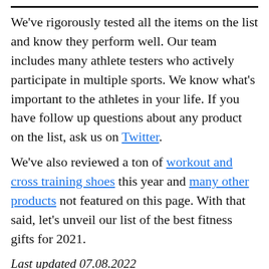We've rigorously tested all the items on the list and know they perform well. Our team includes many athlete testers who actively participate in multiple sports. We know what's important to the athletes in your life. If you have follow up questions about any product on the list, ask us on Twitter.
We've also reviewed a ton of workout and cross training shoes this year and many other products not featured on this page. With that said, let's unveil our list of the best fitness gifts for 2021.
Last updated 07.08.2022
Best Fitness Gifts
1 Best Fitness Tee